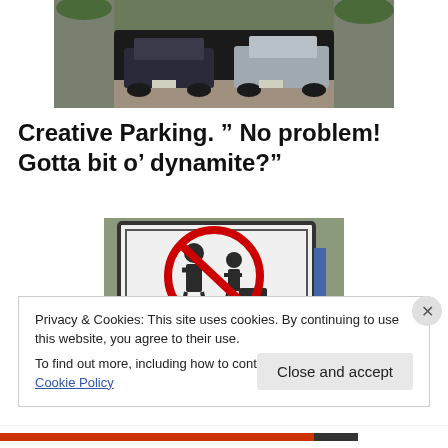[Figure (photo): Two cars parked inside a rock cave/tunnel, viewed from outside. Rocky hillside surrounds the opening. Gravel ground visible.]
Creative Parking.  " No problem! Gotta bit o' dynamite?"
[Figure (photo): A prohibition sign showing two figures (adult and child with stroller) crossed out with a red circle and diagonal line.]
Privacy & Cookies: This site uses cookies. By continuing to use this website, you agree to their use.
To find out more, including how to control cookies, see here: Cookie Policy